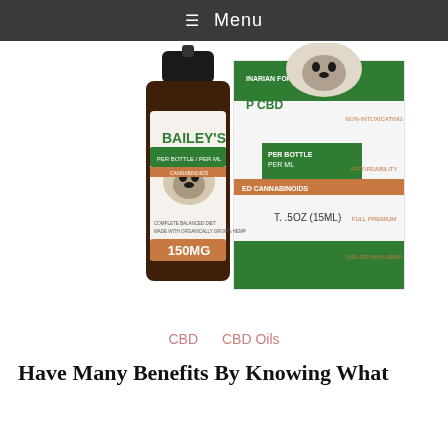≡ Menu
[Figure (photo): Bailey's Full Spectrum Hemp CBD oil bottle (150MG, 15ML) for pets, alongside its product box. The bottle features a pug dog illustration and orange/green label design.]
CBD    CBD Oils
Have Many Benefits By Knowing What